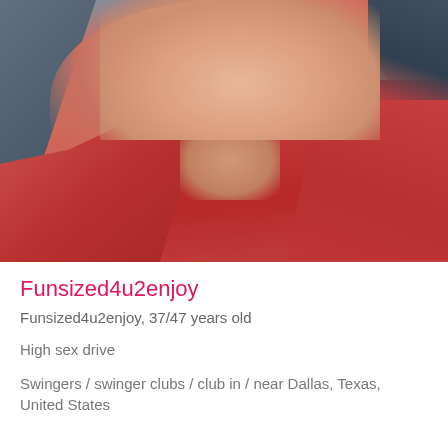[Figure (photo): Selfie photo of a person wearing a red v-neck t-shirt, cropped to show neck and chest area, taken in a car]
Funsized4u2enjoy
Funsized4u2enjoy, 37/47 years old
High sex drive
Swingers / swinger clubs / club in / near Dallas, Texas, United States